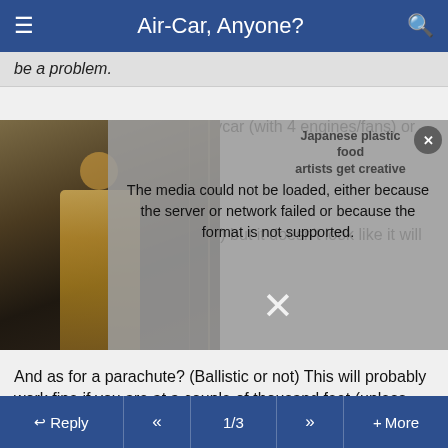Air-Car, Anyone?
be a problem.
Are you talking about the Skycar (with 4 engines/fans) or the
[Figure (screenshot): Embedded video player showing an error message: 'The media could not be loaded, either because the server or network failed or because the format is not supported.' A partially visible photo of a museum exhibit with a person is shown on the left. On the right side, text reads 'Japanese plastic food artists get creative'. A close button (x) is in the top right corner and a large X dismiss icon appears in the center bottom.]
no aerodynamicist (obviously) but it doesn't look like it will remain very stable to me...
And as for a parachute? (Ballistic or not) This will probably work fine if you are at a couple of thousand feet (unless you're doing 300mph at the time, of course!). But what exactly happens if you're <500ft? I can't see a parachute being very effective at these sorts of heights...
Reply  «  1/3  »  + More